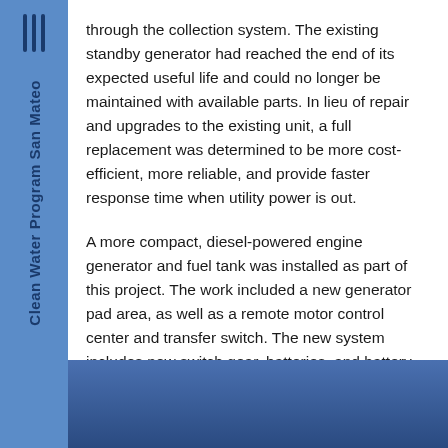Clean Water Program San Mateo
through the collection system. The existing standby generator had reached the end of its expected useful life and could no longer be maintained with available parts. In lieu of repair and upgrades to the existing unit, a full replacement was determined to be more cost-efficient, more reliable, and provide faster response time when utility power is out.
A more compact, diesel-powered engine generator and fuel tank was installed as part of this project. The work included a new generator pad area, as well as a remote motor control center and transfer switch. The new system includes new switch gear, batteries, and battery chargers.